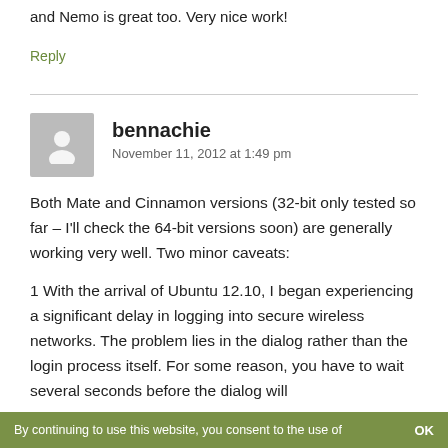and Nemo is great too. Very nice work!
Reply
bennachie
November 11, 2012 at 1:49 pm
Both Mate and Cinnamon versions (32-bit only tested so far – I'll check the 64-bit versions soon) are generally working very well. Two minor caveats:
1 With the arrival of Ubuntu 12.10, I began experiencing a significant delay in logging into secure wireless networks. The problem lies in the dialog rather than the login process itself. For some reason, you have to wait several seconds before the dialog will
By continuing to use this website, you consent to the use of   OK